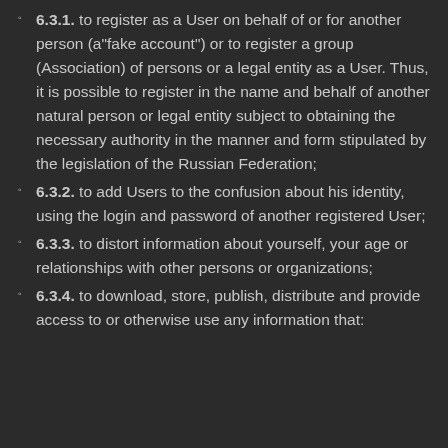6.3.1. to register as a User on behalf of or for another person (a"fake account") or to register a group (Association) of persons or a legal entity as a User. Thus, it is possible to register in the name and behalf of another natural person or legal entity subject to obtaining the necessary authority in the manner and form stipulated by the legislation of the Russian Federation;
6.3.2. to add Users to the confusion about his identity, using the login and password of another registered User;
6.3.3. to distort information about yourself, your age or relationships with other persons or organizations;
6.3.4. to download, store, publish, distribute and provide access to or otherwise use any information that: